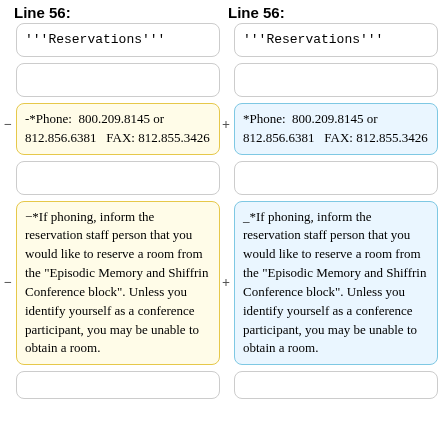Line 56:
Line 56:
'''Reservations'''
'''Reservations'''
-*Phone:  800.209.8145 or 812.856.6381   FAX: 812.855.3426
*Phone:  800.209.8145 or 812.856.6381   FAX: 812.855.3426
-*If phoning, inform the reservation staff person that you would like to reserve a room from the "Episodic Memory and Shiffrin Conference block". Unless you identify yourself as a conference participant, you may be unable to obtain a room.
_*If phoning, inform the reservation staff person that you would like to reserve a room from the "Episodic Memory and Shiffrin Conference block". Unless you identify yourself as a conference participant, you may be unable to obtain a room.